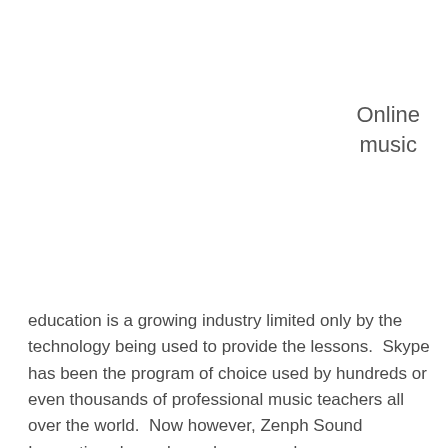Online
music
education is a growing industry limited only by the technology being used to provide the lessons.  Skype has been the program of choice used by hundreds or even thousands of professional music teachers all over the world.  Now however, Zenph Sound Innovations has released a new web